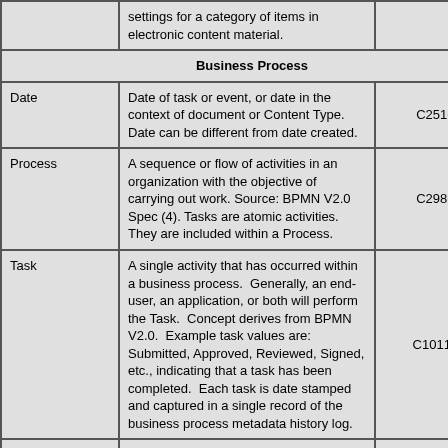| Term | Definition | Code |
| --- | --- | --- |
|  | settings for a category of items in electronic content material. |  |
| Business Process |  |  |
| Date | Date of task or event, or date in the context of document or Content Type.   Date can be different from date created. | C25164 |
| Process | A sequence or flow of activities in an organization with the objective of carrying out work. Source: BPMN V2.0 Spec (4). Tasks are atomic activities. They are included within a Process. | C29862 |
| Task | A single activity that has occurred within a business process.  Generally, an end-user, an application, or both will perform the Task.  Concept derives from BPMN V2.0.  Example task values are: Submitted, Approved, Reviewed, Signed, etc., indicating that a task has been completed.  Each task is date stamped and captured in a single record of the business process metadata history log. | C101129 |
|  |  |  |